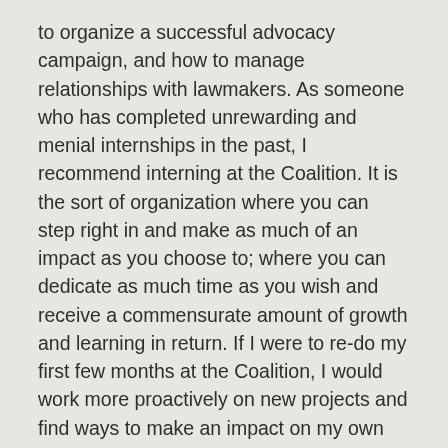to organize a successful advocacy campaign, and how to manage relationships with lawmakers. As someone who has completed unrewarding and menial internships in the past, I recommend interning at the Coalition. It is the sort of organization where you can step right in and make as much of an impact as you choose to; where you can dedicate as much time as you wish and receive a commensurate amount of growth and learning in return. If I were to re-do my first few months at the Coalition, I would work more proactively on new projects and find ways to make an impact on my own instead of solely relying on the instructions from my supervisors. The truth is that they are too busy, as most internship supervisors likely are, to always be supervising. If you have the time, it may be beneficial for you to show initiative and work on a project of your own, in addition to working